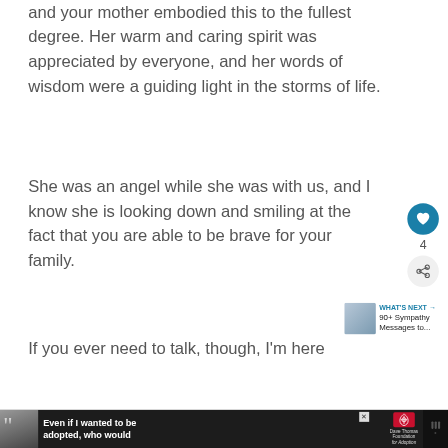and your mother embodied this to the fullest degree. Her warm and caring spirit was appreciated by everyone, and her words of wisdom were a guiding light in the storms of life.
She was an angel while she was with us, and I know she is looking down and smiling at the fact that you are able to be brave for your family.
If you ever need to talk, though, I'm here
[Figure (screenshot): Advertisement banner at bottom: dark background with woman photo, quote mark, text 'Even if I wanted to be adopted, who would', Dave Thomas Foundation for Adoption logo, and close button]
[Figure (infographic): Sidebar UI: heart/like button (teal circle), count '4', share button (grey circle with share icon)]
[Figure (infographic): What's Next promotional box: thumbnail image, label 'WHAT'S NEXT →', text '90+ Sympathy Messages to...']